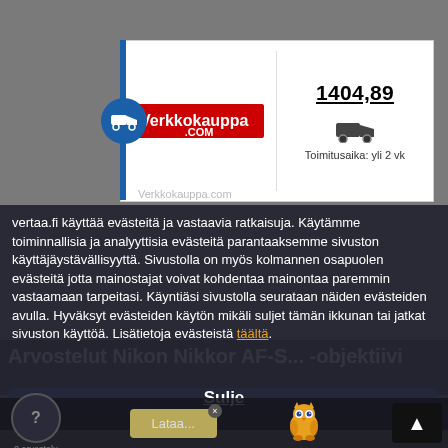[Figure (screenshot): A Finnish e-commerce price comparison website (vertaa.fi) showing a product listing from Verkkokauppa.com with price 1404,89 and delivery time 'Toimitusaika: yli 2 vk'. A cookie consent modal overlay is visible with text about cookies and a 'Sulje' (close) button. Below is a section for reviews of a Nikon Nikkor AF-S lens with a bottom navigation bar.]
1404,89
Toimitusaika: yli 2 vk
Verkkokauppa.com
vertaa.fi käyttää evästeitä ja vastaavia ratkaisuja. Käytämme toiminnallisia ja analyyttisia evästeitä parantaaksemme sivuston käyttäjäystävällisyyttä. Sivustolla on myös kolmannen osapuolen evästeitä jotta mainostajat voivat kohdentaa mainontaa paremmin vastaamaan tarpeitasi. Käyntiäsi sivustolla seurataan näiden evästeiden avulla. Hyväksyt evästeiden käytön mikäli suljet tämän ikkunan tai jatkat sivuston käyttöä. Lisätietoja evästeistä täältä.
Sulje
Arvostelut Nikon Nikkor AF-S... -objektiivi
0 arvostelu
Lataa...
Kirjoita ensimmäinen arvostelu!